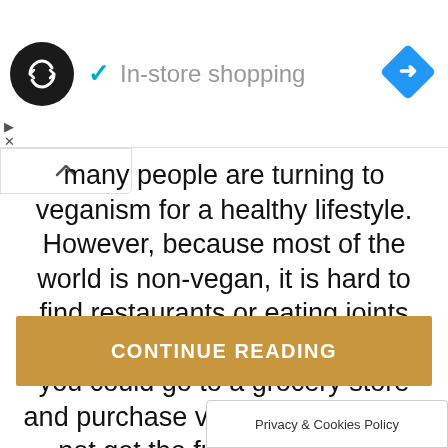[Figure (screenshot): Ad banner with circular logo, checkmark, 'In-store shopping' text, and blue navigation diamond icon]
many people are turning to veganism for a healthy lifestyle. However, because most of the world is non-vegan, it is hard to find restaurants or eating joints that fit the change of diet. While you could go to a grocery store and purchase vegan food, you do not get the full enjoyment of exploring different
CONTINUE READING
Privacy & Cookies Policy